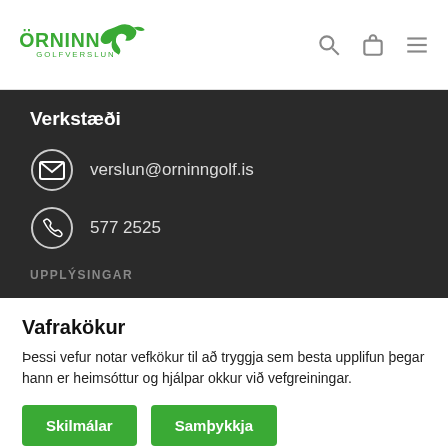Örninn Golfverslun
Verkstæði
verslun@orninngolf.is
577 2525
UPPLÝSINGAR
Vafrakökur
Þessi vefur notar vefkökur til að tryggja sem besta upplifun þegar hann er heimsóttur og hjálpar okkur við vefgreiningar.
Skilmálar
Samþykkja